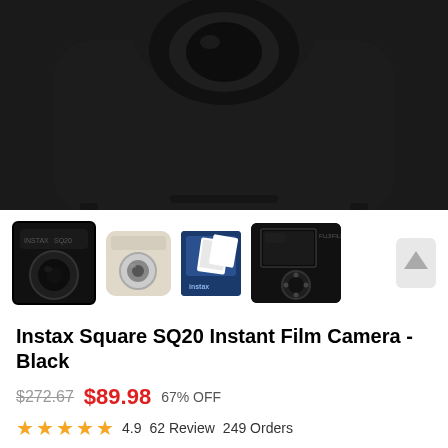[Figure (photo): Close-up of Instax Square SQ20 camera body in black, showing the top portion with lens area on dark background]
[Figure (photo): Thumbnail row showing: selected black SQ20 camera front view, beige/cream colored SQ20 camera, Instax film pack, and black SQ20 camera rear view]
Instax Square SQ20 Instant Film Camera - Black
$272.67  $89.98  67% OFF
★★★★★  4.9   62 Review   249 Orders
COLOR
Beige